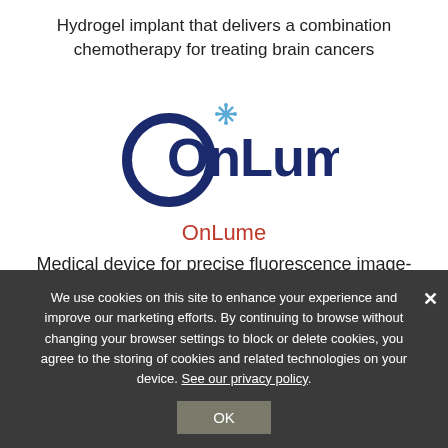Hydrogel implant that delivers a combination chemotherapy for treating brain cancers
[Figure (logo): OnLume company logo — dark navy blue circular arc on left forming an 'O', text 'OnLume' in dark navy with a light-blue asterisk/snowflake icon above the 'L']
OnLume
Medical device for precise fluorescence image-guided surgery
We use cookies on this site to enhance your experience and improve our marketing efforts. By continuing to browse without changing your browser settings to block or delete cookies, you agree to the storing of cookies and related technologies on your device. See our privacy policy